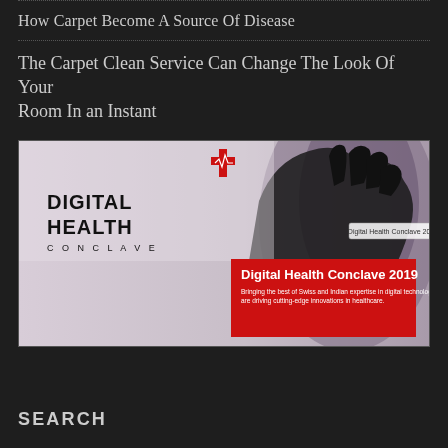How Carpet Become A Source Of Disease
The Carpet Clean Service Can Change The Look Of Your Room In an Instant
[Figure (screenshot): Screenshot of Digital Health Conclave 2019 website banner showing logo and red overlay with event title and description about Swiss and Indian expertise in digital technologies driving innovations in healthcare.]
SEARCH